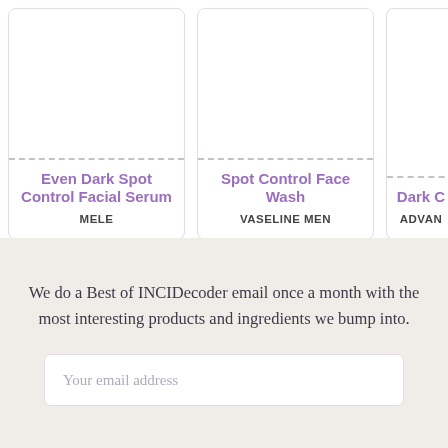[Figure (other): Product card for 'Even Dark Spot Control Facial Serum' by MELE — white card with dashed top border separator, purple bold title, uppercase bold brand name]
[Figure (other): Product card for 'Spot Control Face Wash' by VASELINE MEN — white card with dashed top border separator, purple bold title, uppercase bold brand name]
[Figure (other): Partially visible product card for 'Dark C...' by 'ADVAN...' — cropped at right edge]
We do a Best of INCIDecoder email once a month with the most interesting products and ingredients we bump into.
Your email address